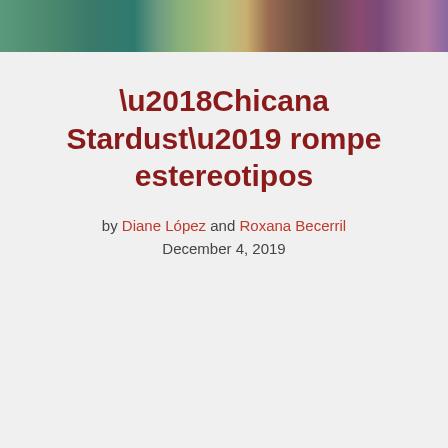[Figure (photo): Partial photograph at top of page showing people in colorful clothing against a warm outdoor background]
‘Chicana Stardust’ rompe estereotipos
by Diane López and Roxana Becerril
December 4, 2019